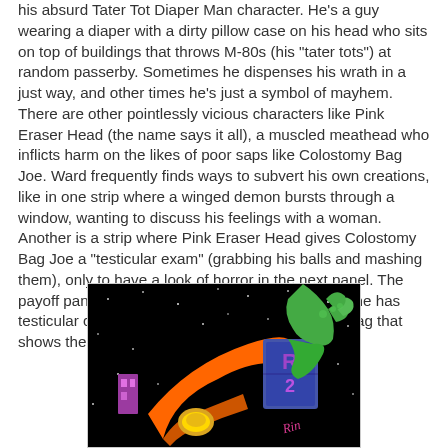his absurd Tater Tot Diaper Man character. He's a guy wearing a diaper with a dirty pillow case on his head who sits on top of buildings that throws M-80s (his "tater tots") at random passerby. Sometimes he dispenses his wrath in a just way, and other times he's just a symbol of mayhem. There are other pointlessly vicious characters like Pink Eraser Head (the name says it all), a muscled meathead who inflicts harm on the likes of poor saps like Colostomy Bag Joe. Ward frequently finds ways to subvert his own creations, like in one strip where a winged demon bursts through a window, wanting to discuss his feelings with a woman. Another is a strip where Pink Eraser Head gives Colostomy Bag Joe a "testicular exam" (grabbing his balls and mashing them), only to have a look of horror in the next panel. The payoff panel features Joe at the doctor, being told he has testicular cancer. It's a brutally hilarious, nihilistic gag that shows the brains behind the mayhem.
[Figure (illustration): A dark/black background comic-style illustration showing colorful cartoon characters and objects including a green hand, a purple/blue box with text, an orange shape, and a gold/yellow circular object, resembling a comic book panel set in space or a dark setting with small white dots (stars).]